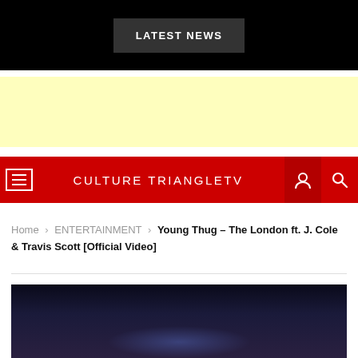LATEST NEWS
[Figure (other): Yellow advertisement banner placeholder]
CULTURE TRIANGLETV
Home > ENTERTAINMENT > Young Thug – The London ft. J. Cole & Travis Scott [Official Video]
[Figure (screenshot): Dark video thumbnail for Young Thug – The London ft. J. Cole & Travis Scott [Official Video]]